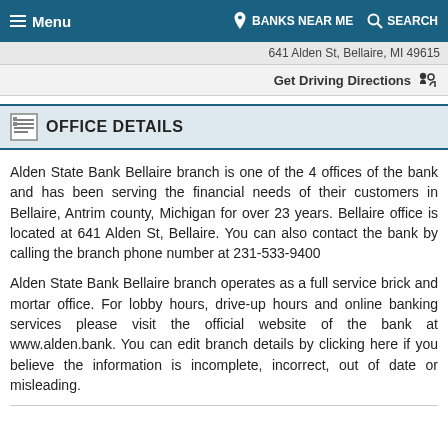Menu  BANKS NEAR ME  SEARCH
641 Alden St, Bellaire, MI 49615
Get Driving Directions
OFFICE DETAILS
Alden State Bank Bellaire branch is one of the 4 offices of the bank and has been serving the financial needs of their customers in Bellaire, Antrim county, Michigan for over 23 years. Bellaire office is located at 641 Alden St, Bellaire. You can also contact the bank by calling the branch phone number at 231-533-9400
Alden State Bank Bellaire branch operates as a full service brick and mortar office. For lobby hours, drive-up hours and online banking services please visit the official website of the bank at www.alden.bank. You can edit branch details by clicking here if you believe the information is incomplete, incorrect, out of date or misleading.